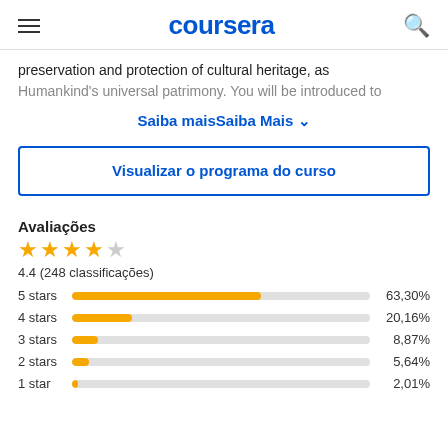coursera
preservation and protection of cultural heritage, as
Humankind's universal patrimony. You will be introduced to
Saiba maisSaiba Mais ▾
Visualizar o programa do curso
Avaliações
[Figure (bar-chart): Avaliações rating breakdown]